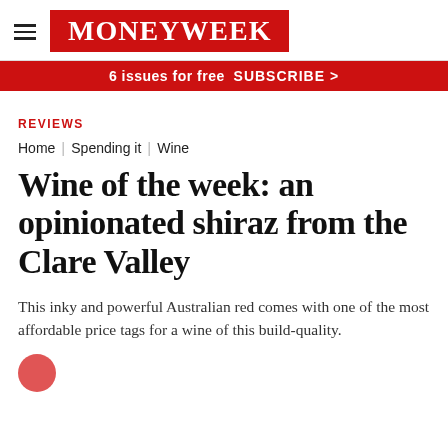MoneyWeek
6 issues for free  SUBSCRIBE >
REVIEWS
Home | Spending it | Wine
Wine of the week: an opinionated shiraz from the Clare Valley
This inky and powerful Australian red comes with one of the most affordable price tags for a wine of this build-quality.